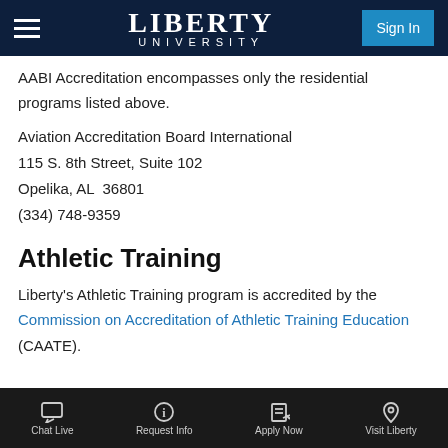Liberty University
AABI Accreditation encompasses only the residential programs listed above.
Aviation Accreditation Board International
115 S. 8th Street, Suite 102
Opelika, AL  36801
(334) 748-9359
Athletic Training
Liberty's Athletic Training program is accredited by the Commission on Accreditation of Athletic Training Education (CAATE).
Chat Live | Request Info | Apply Now | Visit Liberty